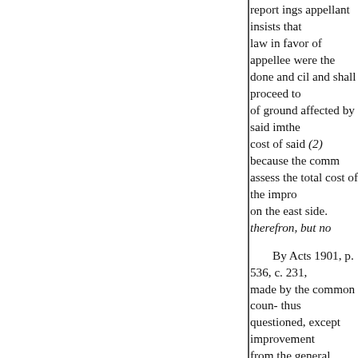report ings appellant insists that law in favor of appellee were the done and cil and shall proceed to of ground affected by said imthe cost of said (2) because the comm assess the total cost of the impro on the east side. therefron, but no

By Acts 1901, p. 536, c. 231, made by the common coun- thus questioned, except improvement from the general funds of the city taxing district is limited have ear abutabove stated, we have deeme

able; neither are all assessments property. The theory ed for the in between Linden and Miami stree language is that the special bene common to nor shared by the oth against such property "specificat of said improvement on file in th specified that every part if it turr then benefits resulting from a str side of the street, that side o